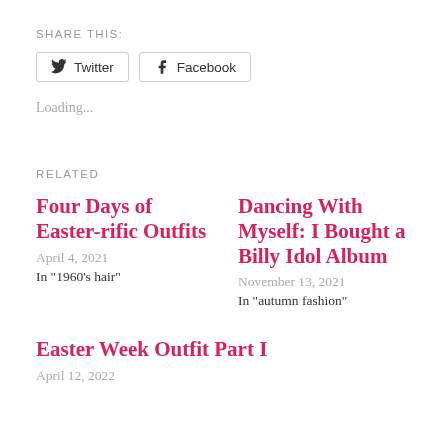SHARE THIS:
Twitter   Facebook
Loading...
RELATED
Four Days of Easter-rific Outfits
April 4, 2021
In "1960's hair"
Dancing With Myself: I Bought a Billy Idol Album
November 13, 2021
In "autumn fashion"
Easter Week Outfit Part I
April 12, 2022